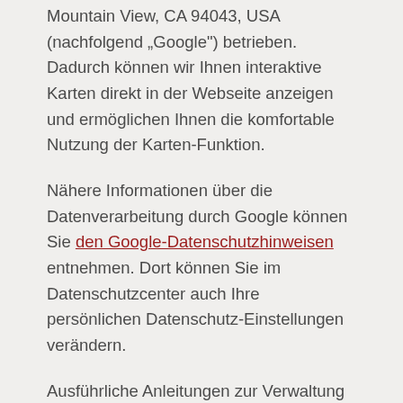Mountain View, CA 94043, USA (nachfolgend „Google") betrieben. Dadurch können wir Ihnen interaktive Karten direkt in der Webseite anzeigen und ermöglichen Ihnen die komfortable Nutzung der Karten-Funktion.
Nähere Informationen über die Datenverarbeitung durch Google können Sie den Google-Datenschutzhinweisen entnehmen. Dort können Sie im Datenschutzcenter auch Ihre persönlichen Datenschutz-Einstellungen verändern.
Ausführliche Anleitungen zur Verwaltung der eigenen Daten im Zusammenhang mit